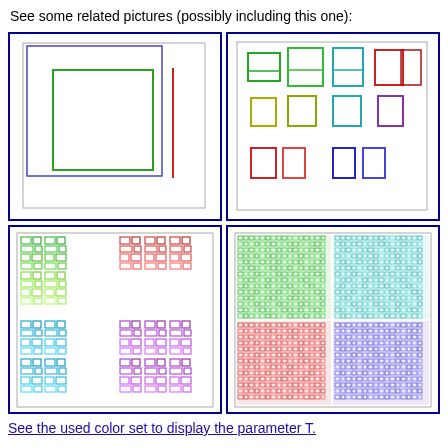See some related pictures (possibly including this one):
[Figure (illustration): Top-left: Two nested rectangles with colored outlines (green inner, red/pink vertical line, blue outer border) on white background, showing simple recursive/fractal-like patterns.]
[Figure (illustration): Top-right: Multiple colored U-shaped and rectangular outlines at varying scales arranged in a grid pattern, showing recursive/fractal patterns with green, yellow, teal, red, blue, purple colors.]
[Figure (illustration): Bottom-left: Dense grid of colored interlocking rectangular maze-like patterns in green, yellow-green, teal, blue, red, and pink colors.]
[Figure (illustration): Bottom-right: Very dense grid of tiny colored rectangular patterns forming a gradient from green (top-left) to teal (top-right) to red (bottom-left) to blue/purple (bottom-right).]
See the used color set to display the parameter T.